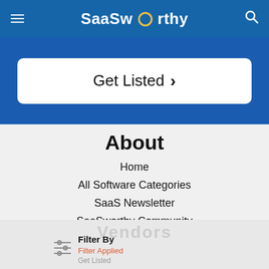SaaSworthy
[Figure (screenshot): Get Listed button with arrow on blue banner]
About
Home
All Software Categories
SaaS Newsletter
SaaSworthy Community
Blog
SW Score Methodology
SaaS Terms Glossary
Vendors  Filter By  Filter Applied  Get Listed